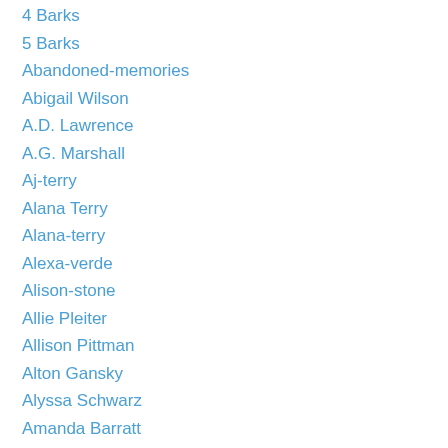4 Barks
5 Barks
Abandoned-memories
Abigail Wilson
A.D. Lawrence
A.G. Marshall
Aj-terry
Alana Terry
Alana-terry
Alexa-verde
Alison-stone
Allie Pleiter
Allison Pittman
Alton Gansky
Alyssa Schwarz
Amanda Barratt
Amanda-cabot
Amanda Cox
Amanda-dykes
Amanda Flower
Amanda G. Stevens